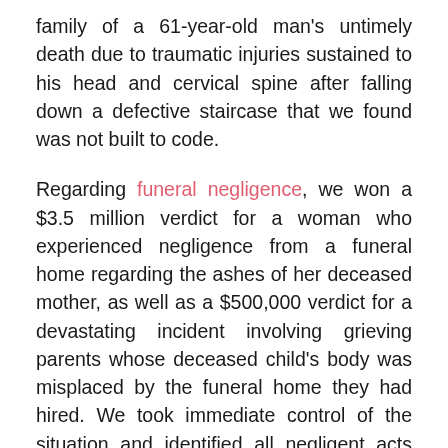family of a 61-year-old man's untimely death due to traumatic injuries sustained to his head and cervical spine after falling down a defective staircase that we found was not built to code.
Regarding funeral negligence, we won a $3.5 million verdict for a woman who experienced negligence from a funeral home regarding the ashes of her deceased mother, as well as a $500,000 verdict for a devastating incident involving grieving parents whose deceased child's body was misplaced by the funeral home they had hired. We took immediate control of the situation and identified all negligent acts and statutory violations and took action to right this terrible wrongdoing.
But it doesn't end there. These are the kinds of cases we take on regularly, and the kinds of cases